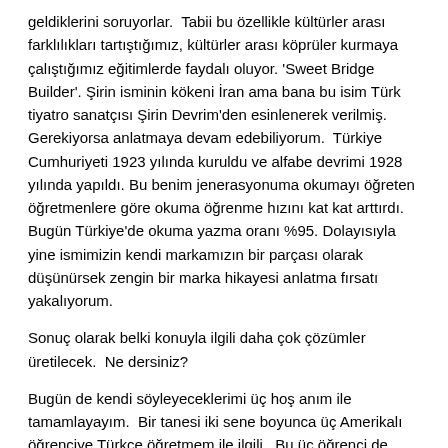geldiklerini soruyorlar.  Tabii bu özellikle kültürler arası farklılıkları tartıştığımız, kültürler arası köprüler kurmaya çalıştığımız eğitimlerde faydalı oluyor. 'Sweet Bridge Builder'. Şirin isminin kökeni İran ama bana bu isim Türk tiyatro sanatçısı Şirin Devrim'den esinlenerek verilmiş. Gerekiyorsa anlatmaya devam edebiliyorum.  Türkiye Cumhuriyeti 1923 yılında kuruldu ve alfabe devrimi 1928 yılında yapıldı. Bu benim jenerasyonuma okumayı öğreten öğretmenlere göre okuma öğrenme hızını kat kat arttırdı. Bugün Türkiye'de okuma yazma oranı %95. Dolayısıyla yine ismimizin kendi markamızın bir parçası olarak düşünürsek zengin bir marka hikayesi anlatma fırsatı yakalıyorum.
Sonuç olarak belki konuyla ilgili daha çok çözümler üretilecek.  Ne dersiniz?
Bugün de kendi söyleyeceklerimi üç hoş anım ile tamamlayayım.  Bir tanesi iki sene boyunca üç Amerikalı öğrenciye Türkçe öğretmem ile ilgili.  Bu üç öğrenci de Türkiye'de iş yapmak isteyen global firmalar için çalışıyorlardı.  Türkçenin uzun birleşik kelimeleri ile birlikte cebelleştik ve bol bol yüksek sesle okumanın olumlu sonuçlarını birlikte gördük.  Diğeri yine global bir firmada eğitim yaparken ve de temel Türkçe terimler öğretirken takım liderinin çıkıp Mary Poppins isimli film klasiğinden alıntı yaparak siz 'supercalifragilisticexpialidocious'u telaffuz edebiliyor musunuz demesi oldu.  O zaman telaffuz edememiştim ama gururla söylemeliyim ki bu sene oğullarım okul müzikalleri için auda prova